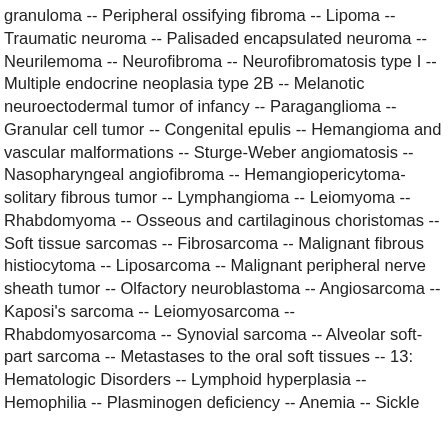granuloma -- Peripheral ossifying fibroma -- Lipoma -- Traumatic neuroma -- Palisaded encapsulated neuroma -- Neurilemoma -- Neurofibroma -- Neurofibromatosis type I -- Multiple endocrine neoplasia type 2B -- Melanotic neuroectodermal tumor of infancy -- Paraganglioma -- Granular cell tumor -- Congenital epulis -- Hemangioma and vascular malformations -- Sturge-Weber angiomatosis -- Nasopharyngeal angiofibroma -- Hemangiopericytoma-solitary fibrous tumor -- Lymphangioma -- Leiomyoma -- Rhabdomyoma -- Osseous and cartilaginous choristomas -- Soft tissue sarcomas -- Fibrosarcoma -- Malignant fibrous histiocytoma -- Liposarcoma -- Malignant peripheral nerve sheath tumor -- Olfactory neuroblastoma -- Angiosarcoma -- Kaposi's sarcoma -- Leiomyosarcoma -- Rhabdomyosarcoma -- Synovial sarcoma -- Alveolar soft-part sarcoma -- Metastases to the oral soft tissues -- 13: Hematologic Disorders -- Lymphoid hyperplasia -- Hemophilia -- Plasminogen deficiency -- Anemia -- Sickle